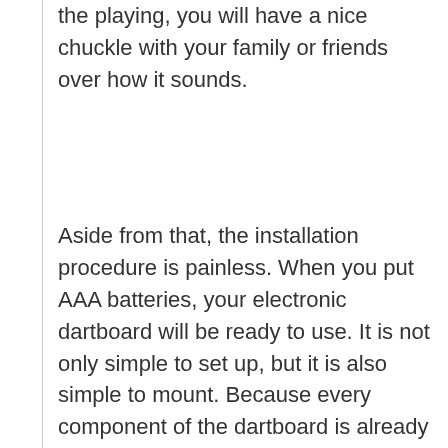the playing, you will have a nice chuckle with your family or friends over how it sounds.
Aside from that, the installation procedure is painless. When you put AAA batteries, your electronic dartboard will be ready to use. It is not only simple to set up, but it is also simple to mount. Because every component of the dartboard is already outside the box, including the storage for the darts, mounting this product will take only a few minutes. Furthermore, the board